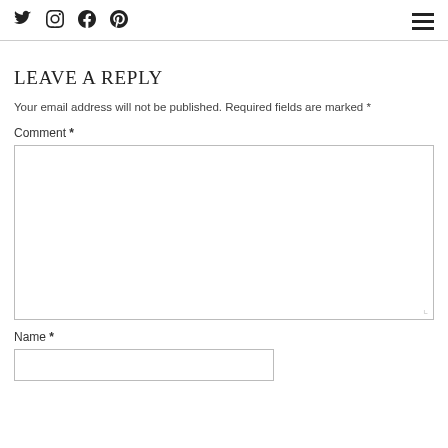Social icons (Twitter, Instagram, Facebook, Pinterest) and hamburger menu
LEAVE A REPLY
Your email address will not be published. Required fields are marked *
Comment *
Name *